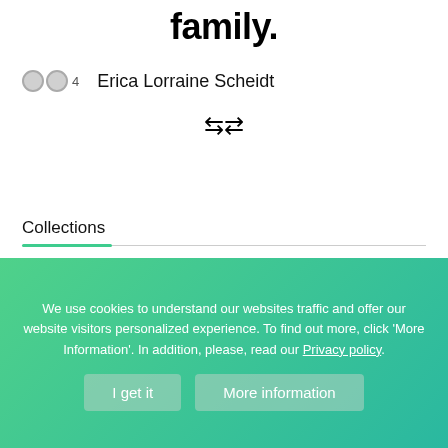family.
Erica Lorraine Scheidt
Collections
We use cookies to understand our websites traffic and offer our website visitors personalized experience. To find out more, click 'More Information'. In addition, please, read our Privacy policy.